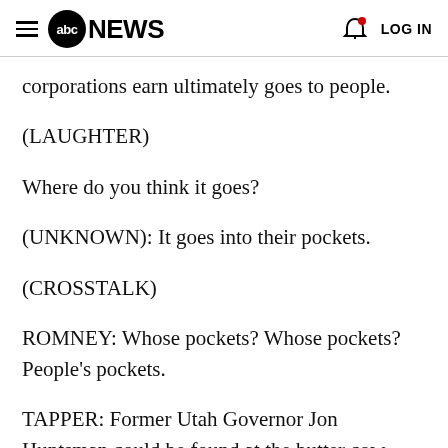abc NEWS   LOG IN
corporations earn ultimately goes to people.
(LAUGHTER)
Where do you think it goes?
(UNKNOWN): It goes into their pockets.
(CROSSTALK)
ROMNEY: Whose pockets? Whose pockets? People's pockets.
TAPPER: Former Utah Governor Jon Huntsman could be found at the butter cow